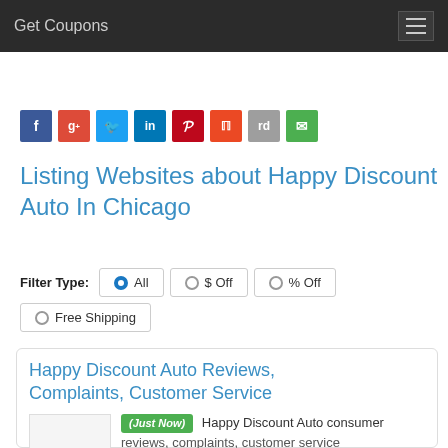Get Coupons
[Figure (infographic): Row of social media sharing buttons: Facebook, Google+, Twitter, LinkedIn, Pinterest, StumbleUpon, Reddit, Email]
Listing Websites about Happy Discount Auto In Chicago
Filter Type: All  $ Off  % Off  Free Shipping
Happy Discount Auto Reviews, Complaints, Customer Service
(Just Now) Happy Discount Auto consumer reviews, complaints, customer service